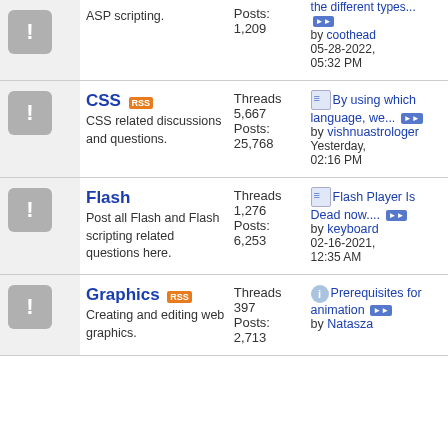| Icon | Forum | Stats | Last Post |
| --- | --- | --- | --- |
| ! | ASP scripting. | Posts: 1,209 | the different types... by coothead 05-28-2022, 05:32 PM |
| ! | CSS
CSS related discussions and questions. | Threads 5,667
Posts: 25,768 | By using which language, we... by vishnuastrologer Yesterday, 02:16 PM |
| ! | Flash
Post all Flash and Flash scripting related questions here. | Threads 1,276
Posts: 6,253 | Flash Player Is Dead now.... by keyboard 02-16-2021, 12:35 AM |
| ! | Graphics
Creating and editing web graphics. | Threads 397
Posts: 2,713 | Prerequisites for animation by Natasza |